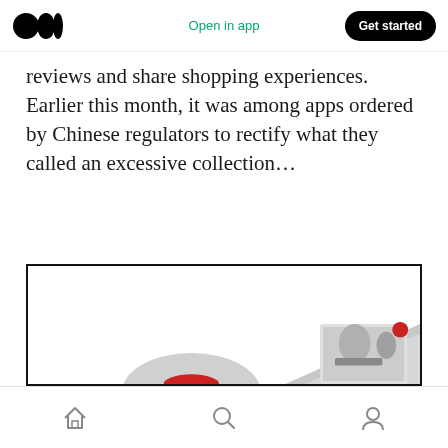Open in app | Get started
reviews and share shopping experiences. Earlier this month, it was among apps ordered by Chinese regulators to rectify what they called an excessive collection…
[Figure (screenshot): Partially visible screenshot showing a news/media image with a grey diagonal curl in the bottom right corner, and a partial circular image at the bottom center. The image content is largely white/blank with some imagery visible at the bottom edge.]
Home | Search | Profile